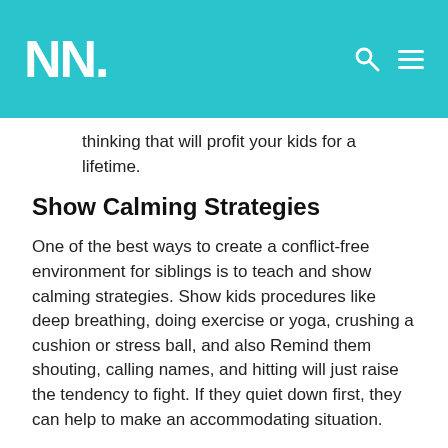NN.
thinking that will profit your kids for a lifetime.
Show Calming Strategies
One of the best ways to create a conflict-free environment for siblings is to teach and show calming strategies. Show kids procedures like deep breathing, doing exercise or yoga, crushing a cushion or stress ball, and also Remind them shouting, calling names, and hitting will just raise the tendency to fight. If they quiet down first, they can help to make an accommodating situation.
It might also be important to give your youngsters an ideal opportunity to cool down prior to handling the issue. Separate the youngsters and send them to various spaces of the home to quiet down depending on the